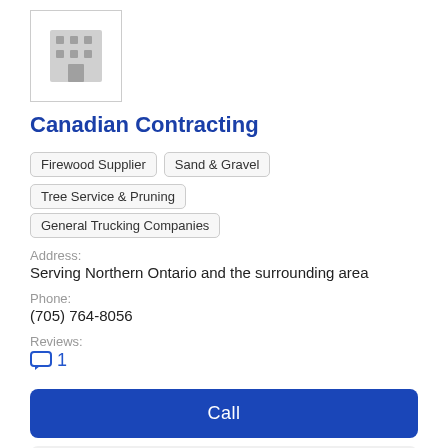[Figure (logo): Building/office icon placeholder image in a bordered box]
Canadian Contracting
Firewood Supplier
Sand & Gravel
Tree Service & Pruning
General Trucking Companies
Address:
Serving Northern Ontario and the surrounding area
Phone:
(705) 764-8056
Reviews:
1
Call
View Profile
[Figure (logo): Second business logo placeholder, partially visible at bottom]